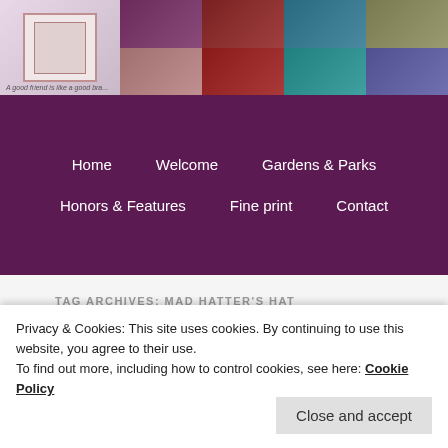[Figure (photo): Blog header collage showing handmade crafts including greeting cards, jewelry, fabric flowers, and knitted items arranged in a grid]
Home | Welcome | Gardens & Parks | Honors & Features | Fine print | Contact
TAG ARCHIVES: MAD HATTER'S HAT
Alice in Wonderland Card
Coffee Lovers Bloghop!
Privacy & Cookies: This site uses cookies. By continuing to use this website, you agree to their use.
To find out more, including how to control cookies, see here: Cookie Policy
Close and accept